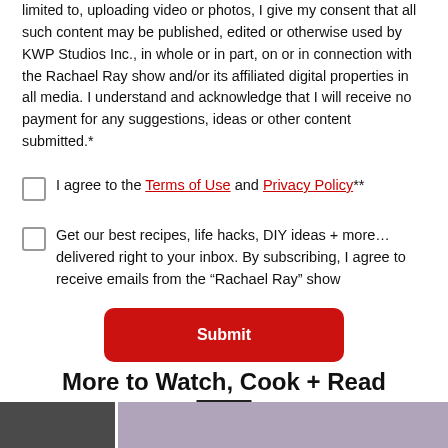limited to, uploading video or photos, I give my consent that all such content may be published, edited or otherwise used by KWP Studios Inc., in whole or in part, on or in connection with the Rachael Ray show and/or its affiliated digital properties in all media. I understand and acknowledge that I will receive no payment for any suggestions, ideas or other content submitted.*
I agree to the Terms of Use and Privacy Policy**
Get our best recipes, life hacks, DIY ideas + more… delivered right to your inbox. By subscribing, I agree to receive emails from the “Rachael Ray” show
Submit
More to Watch, Cook + Read
[Figure (photo): Partial photo strip at bottom of page]